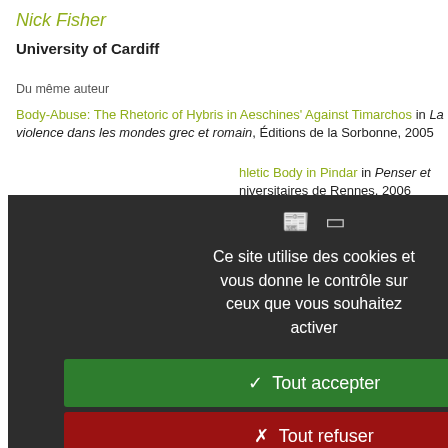Nick Fisher
University of Cardiff
Du même auteur
Body-Abuse: The Rhetoric of Hybris in Aeschines' Against Timarchos in La violence dans les mondes grec et romain, Éditions de la Sorbonne, 2005
hletic Body in Pindar in Penser et niversitaires de Rennes, 2006
ion.org/6540
La Purification de Délos de 425 : Thucydide est-il fiable ?
Ce site utilise des cookies et vous donne le contrôle sur ceux que vous souhaitez activer
✓  Tout accepter
✗  Tout refuser
Personnaliser
Politique de confidentialité